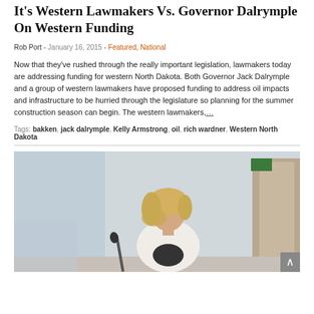It's Western Lawmakers Vs. Governor Dalrymple On Western Funding
Rob Port - January 16, 2015 - Featured, National
Now that they've rushed through the really important legislation, lawmakers today are addressing funding for western North Dakota. Both Governor Jack Dalrymple and a group of western lawmakers have proposed funding to address oil impacts and infrastructure to be hurried through the legislature so planning for the summer construction season can begin. The western lawmakers,…
Tags: bakken, jack dalrymple, Kelly Armstrong, oil, rich wardner, Western North Dakota
[Figure (photo): A blonde woman in a white jacket standing at a podium with a microphone in what appears to be a meeting room or legislative chamber. The background shows light-colored walls and a door.]